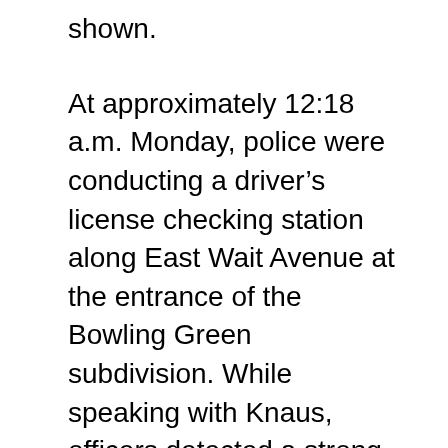shown.
At approximately 12:18 a.m. Monday, police were conducting a driver's license checking station along East Wait Avenue at the entrance of the Bowling Green subdivision. While speaking with Knaus, officers detected a strong odor of marijuana. After initially consenting to a search and exiting his vehicle, Knaus, 28, jumped back inside the car and struggled with officers before driving away – briefly dragging Officer J.L. McArthur and knocking him down in the roadway. Officer McArthur suffered a minor injury to his knee.
While attempting to elude police, Knaus turned into the Bowling Green subdivision